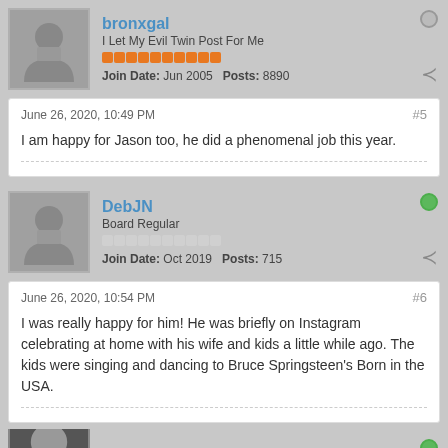bronxgal — I Let My Evil Twin Post For Me — Join Date: Jun 2005  Posts: 8890
June 26, 2020, 10:49 PM  #5
I am happy for Jason too, he did a phenomenal job this year.
DebJN — Board Regular — Join Date: Oct 2019  Posts: 715
June 26, 2020, 10:54 PM  #6
I was really happy for him! He was briefly on Instagram celebrating at home with his wife and kids a little while ago. The kids were singing and dancing to Bruce Springsteen's Born in the USA.
ILovePinnie (partial, cut off)